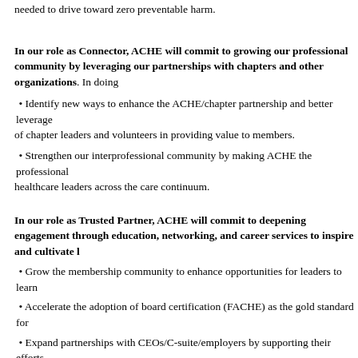needed to drive toward zero preventable harm.
In our role as Connector, ACHE will commit to growing our professional community by leveraging our partnerships with chapters and other organizations. In doing so, ACHE will:
Identify new ways to enhance the ACHE/chapter partnership and better leverage the talents of chapter leaders and volunteers in providing value to members.
Strengthen our interprofessional community by making ACHE the professional home for healthcare leaders across the care continuum.
In our role as Trusted Partner, ACHE will commit to deepening engagement with members through education, networking, and career services to inspire and cultivate leadership. ACHE will:
Grow the membership community to enhance opportunities for leaders to learn and connect.
Accelerate the adoption of board certification (FACHE) as the gold standard for healthcare leaders.
Expand partnerships with CEOs/C-suite/employers by supporting their efforts to build and retain a strong, resilient leadership workforce.
Educate, engage and inspire those newer to leadership roles, including early careerists, to fulfill their highest potential in the profession throughout their careers.
Accelerate the use of technology to proactively meet the challenges of a rapidly changing environment.